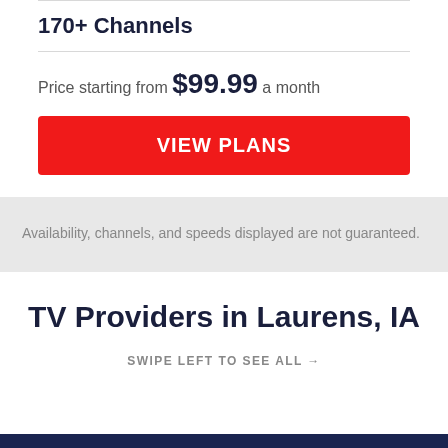170+ Channels
Price starting from $99.99 a month
VIEW PLANS
Availability, channels, and speeds displayed are not guaranteed.
TV Providers in Laurens, IA
SWIPE LEFT TO SEE ALL →